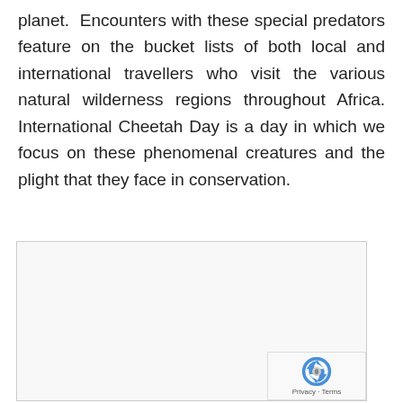planet. Encounters with these special predators feature on the bucket lists of both local and international travellers who visit the various natural wilderness regions throughout Africa. International Cheetah Day is a day in which we focus on these phenomenal creatures and the plight that they face in conservation.
[Figure (other): Partially visible image placeholder box with a reCAPTCHA badge in the bottom-right corner]